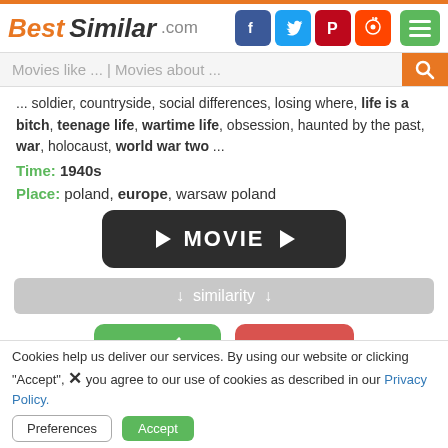BestSimilar.com
... soldier, countryside, social differences, losing where, life is a bitch, teenage life, wartime life, obsession, haunted by the past, war, holocaust, world war two ...
Time: 1940s
Place: poland, europe, warsaw poland
[Figure (other): Dark rounded rectangle button with play icon and text MOVIE and another play icon]
↓ similarity ↓
[Figure (other): Yes thumbs up button (green) and No thumbs down button (red)]
Cookies help us deliver our services. By using our website or clicking "Accept", you agree to our use of cookies as described in our Privacy Policy.
Preferences  Accept